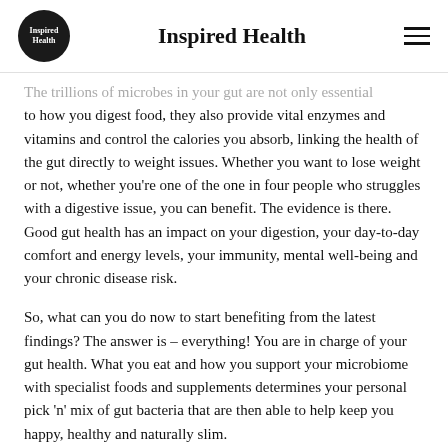Inspired Health
The trillions of microbes in your gut are not only essential to how you digest food, they also provide vital enzymes and vitamins and control the calories you absorb, linking the health of the gut directly to weight issues. Whether you want to lose weight or not, whether you're one of the one in four people who struggles with a digestive issue, you can benefit. The evidence is there. Good gut health has an impact on your digestion, your day-to-day comfort and energy levels, your immunity, mental well-being and your chronic disease risk.
So, what can you do now to start benefiting from the latest findings? The answer is – everything! You are in charge of your gut health. What you eat and how you support your microbiome with specialist foods and supplements determines your personal pick 'n' mix of gut bacteria that are then able to help keep you happy, healthy and naturally slim.